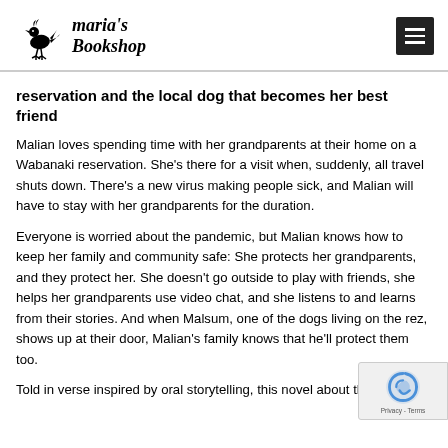Maria's Bookshop
reservation and the local dog that becomes her best friend
Malian loves spending time with her grandparents at their home on a Wabanaki reservation. She's there for a visit when, suddenly, all travel shuts down. There's a new virus making people sick, and Malian will have to stay with her grandparents for the duration.
Everyone is worried about the pandemic, but Malian knows how to keep her family and community safe: She protects her grandparents, and they protect her. She doesn't go outside to play with friends, she helps her grandparents use video chat, and she listens to and learns from their stories. And when Malsum, one of the dogs living on the rez, shows up at their door, Malian's family knows that he'll protect them too.
Told in verse inspired by oral storytelling, this novel about the COVID-